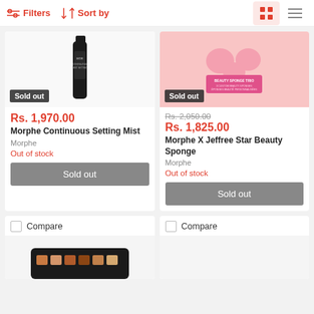Filters  Sort by
[Figure (photo): Product image of Morphe Continuous Setting Mist (black bottle) with Sold out badge]
Rs. 1,970.00
Morphe Continuous Setting Mist
Morphe
Out of stock
Sold out
[Figure (photo): Product image of Morphe X Jeffree Star Beauty Sponge Trio (pink sponge) with Sold out badge]
Rs. 2,050.00
Rs. 1,825.00
Morphe X Jeffree Star Beauty Sponge
Morphe
Out of stock
Sold out
Compare
Compare
[Figure (photo): Partial product image of an eyeshadow palette with warm tones at bottom of page]
[Figure (photo): Partial product image, light/empty, at bottom right of page]